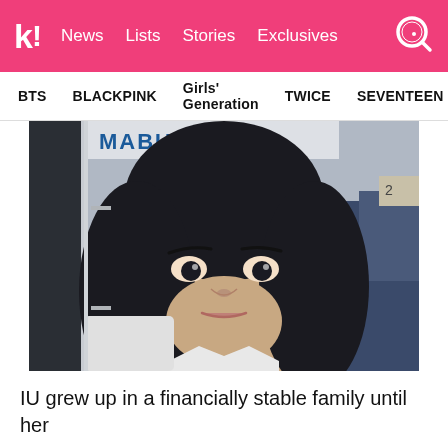k! News Lists Stories Exclusives
BTS  BLACKPINK  Girls' Generation  TWICE  SEVENTEEN
[Figure (photo): A young Asian woman with long dark hair, looking directly at the camera. A partial text banner reading 'MABURI' is visible in the upper left. She is wearing a white top. Background shows an indoor setting.]
IU grew up in a financially stable family until her